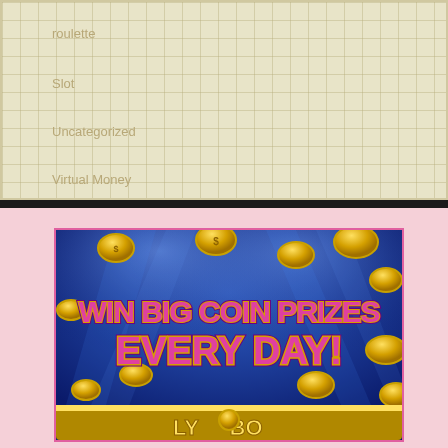roulette
Slot
Uncategorized
Virtual Money
[Figure (illustration): Promotional casino banner showing gold coins raining down on a blue background with spotlights. Text reads 'WIN BIG COIN PRIZES EVERY DAY!' in large pink and yellow letters with a gold border design at the bottom partially cut off.]